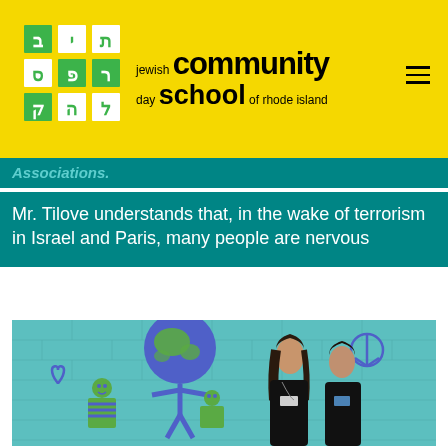jewish community day school of rhode island
Associations.
Mr. Tilove understands that, in the wake of terrorism in Israel and Paris, many people are nervous
[Figure (photo): Two girls standing in front of a colorful mural painted on a teal/light blue brick wall. The mural shows cartoon-style figures holding up a globe, with a peace symbol and a heart. The girls are wearing black jackets with name tags.]